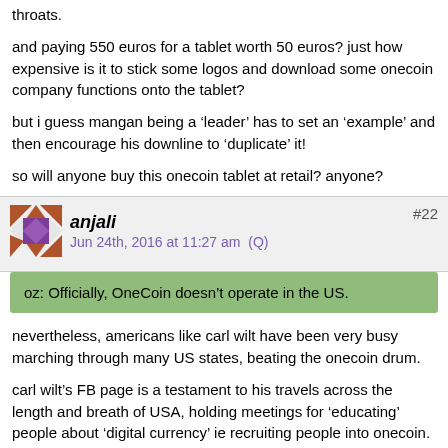throats.
and paying 550 euros for a tablet worth 50 euros? just how expensive is it to stick some logos and download some onecoin company functions onto the tablet?
but i guess mangan being a 'leader' has to set an 'example' and then encourage his downline to 'duplicate' it!
so will anyone buy this onecoin tablet at retail? anyone?
anjali  #22  Jun 24th, 2016 at 11:27 am  (Q)
oz: Officially, OneCoin doesn't operate in the US.
nevertheless, americans like carl wilt have been very busy marching through many US states, beating the onecoin drum.
carl wilt's FB page is a testament to his travels across the length and breath of USA, holding meetings for 'educating' people about 'digital currency' ie recruiting people into onecoin.